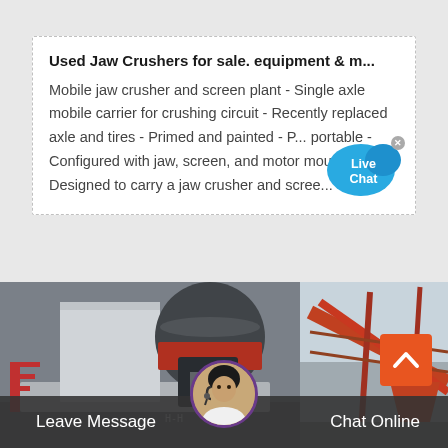Used Jaw Crushers for sale. equipment & m...
Mobile jaw crusher and screen plant - Single axle mobile carrier for crushing circuit - Recently replaced axle and tires - Primed and painted - P... portable - Configured with jaw, screen, and motor mounts - Designed to carry a jaw crusher and scree...
[Figure (photo): Industrial jaw crusher and screen plant machinery - two photos side by side showing heavy mining equipment with red structural supports and conveyors]
Leave Message
Chat Online